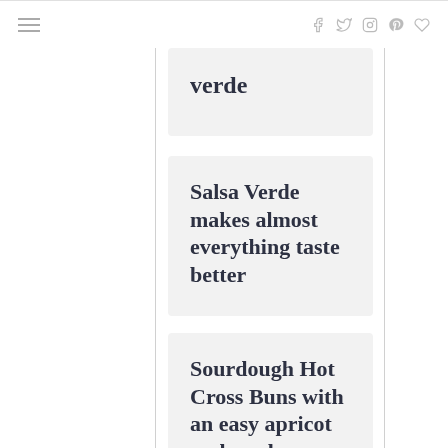≡ f tw ig P ♡
Verde
Salsa Verde makes almost everything taste better
Sourdough Hot Cross Buns with an easy apricot and cardamom glaze
Tomato and Grape Tartine for an easy lunchtime getaway